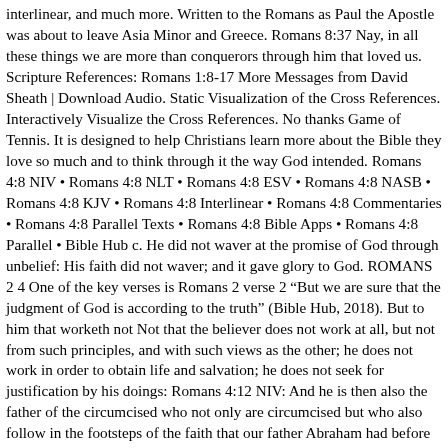interlinear, and much more. Written to the Romans as Paul the Apostle was about to leave Asia Minor and Greece. Romans 8:37 Nay, in all these things we are more than conquerors through him that loved us. Scripture References: Romans 1:8-17 More Messages from David Sheath | Download Audio. Static Visualization of the Cross References. Interactively Visualize the Cross References. No thanks Game of Tennis. It is designed to help Christians learn more about the Bible they love so much and to think through it the way God intended. Romans 4:8 NIV • Romans 4:8 NLT • Romans 4:8 ESV • Romans 4:8 NASB • Romans 4:8 KJV • Romans 4:8 Interlinear • Romans 4:8 Commentaries • Romans 4:8 Parallel Texts • Romans 4:8 Bible Apps • Romans 4:8 Parallel • Bible Hub c. He did not waver at the promise of God through unbelief: His faith did not waver; and it gave glory to God. ROMANS 2 4 One of the key verses is Romans 2 verse 2 “But we are sure that the judgment of God is according to the truth” (Bible Hub, 2018). But to him that worketh not Not that the believer does not work at all, but not from such principles, and with such views as the other; he does not work in order to obtain life and salvation; he does not seek for justification by his doings: Romans 4:12 NIV: And he is then also the father of the circumcised who not only are circumcised but who also follow in the footsteps of the faith that our father Abraham had before he was circumcised. 1 There is therefore now no condemnation to them which are in Christ Jesus, who walk not after the flesh, but after the Spirit. The bible also clearly teaches that this One God has chosen to reveal himself through the bible as... 1 day ago • 1 More Answer • Follow • Vote Up Welcome to Bible.org’s revamped study tool, NET Bible! Gal. Can you put the words of Romans 7:22 (NIV) in the right order? A series of online top-tier Bible studies. Parallel texts: there is in Rome. The